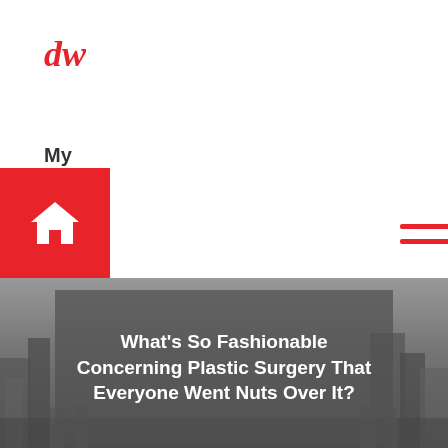dw
My WordPress Blog
[Figure (screenshot): Red home icon button and hamburger menu icon in navigation bar]
[Figure (photo): Grayscale cityscape background with dark semi-transparent overlay]
What’s So Fashionable Concerning Plastic Surgery That Everyone Went Nuts Over It?